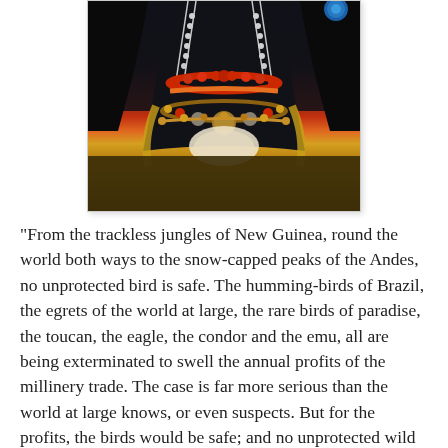[Figure (photo): Close-up photograph of a person wearing elaborate traditional tribal costume with colorful beaded necklaces in red, orange, yellow and gold, black fabric/feathers, and decorative ornaments against a dark background.]
“From the trackless jungles of New Guinea, round the world both ways to the snow-capped peaks of the Andes, no unprotected bird is safe. The humming-birds of Brazil, the egrets of the world at large, the rare birds of paradise, the toucan, the eagle, the condor and the emu, all are being exterminated to swell the annual profits of the millinery trade. The case is far more serious than the world at large knows, or even suspects. But for the profits, the birds would be safe; and no unprotected wild species can long escape the hounds of Commerce.”
But it was not noble efforts at conservation that finally spared